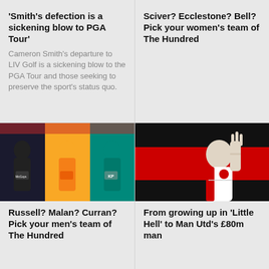'Smith's defection is a sickening blow to PGA Tour'
Cameron Smith's departure to LIV Golf is a sickening blow to the PGA Tour and those seeking to preserve the sport's status quo.
Sciver? Ecclestone? Bell? Pick your women's team of The Hundred
[Figure (photo): Three cricket players in different team kits standing against a colorful background]
Russell? Malan? Curran? Pick your men's team of The Hundred
[Figure (photo): A soccer player in Ajax kit making a hand gesture against a red and black background]
From growing up in 'Little Hell' to Man Utd's £80m man